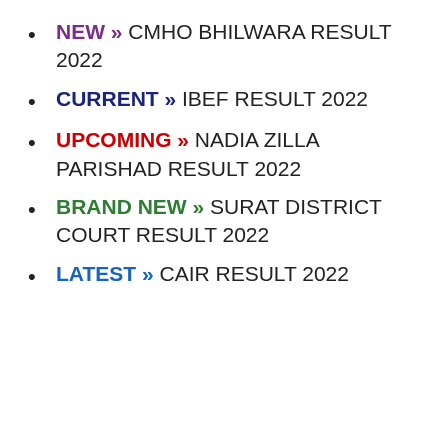NEW » CMHO BHILWARA RESULT 2022
CURRENT » IBEF RESULT 2022
UPCOMING » NADIA ZILLA PARISHAD RESULT 2022
BRAND NEW » SURAT DISTRICT COURT RESULT 2022
LATEST » CAIR RESULT 2022